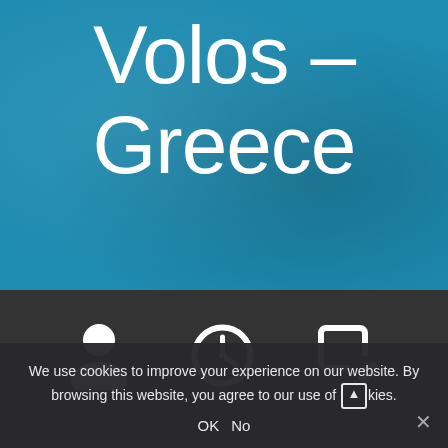Volos – Greece
[Figure (illustration): Three white icons on a dark grey bar: a person/user icon, a clock/time icon, and a pencil/edit icon]
We use cookies to improve your experience on our website. By browsing this website, you agree to our use of cookies.
OK  No